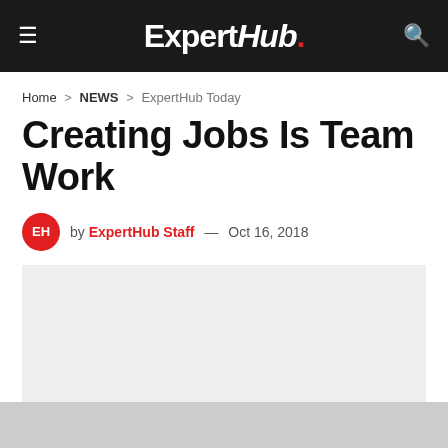ExpertHub.
Home > NEWS > ExpertHub Today
Creating Jobs Is Team Work
by ExpertHub Staff — Oct 16, 2018
[Figure (photo): Light gray placeholder image for article thumbnail]